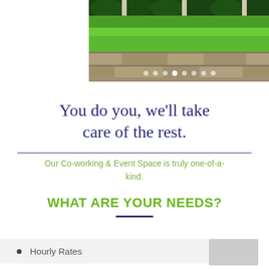[Figure (photo): Outdoor photo showing green lawn, hedge bushes, and a stone retaining wall with carousel navigation dots overlay]
You do you, we'll take care of the rest.
Our Co-working & Event Space is truly one-of-a-kind.
WHAT ARE YOUR NEEDS?
Hourly Rates